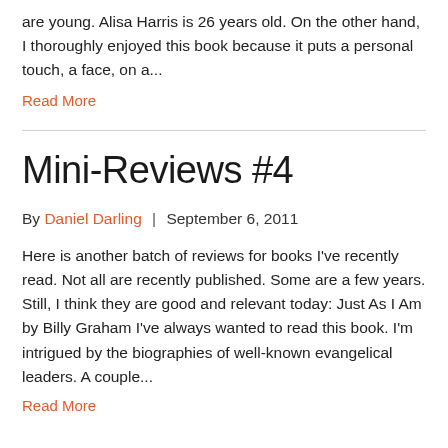are young. Alisa Harris is 26 years old. On the other hand, I thoroughly enjoyed this book because it puts a personal touch, a face, on a...
Read More
Mini-Reviews #4
By Daniel Darling  |  September 6, 2011
Here is another batch of reviews for books I’ve recently read. Not all are recently published. Some are a few years. Still, I think they are good and relevant today: Just As I Am by Billy Graham I’ve always wanted to read this book. I’m intrigued by the biographies of well-known evangelical leaders. A couple...
Read More